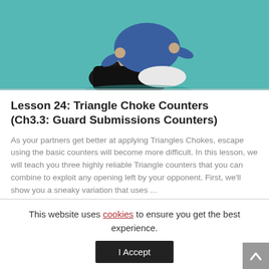[Figure (photo): Two martial artists practicing BJJ on a teal/turquoise mat. One person wearing black gi is seated, the other in a blue gi is applying a triangle choke technique.]
Lesson 24: Triangle Choke Counters (Ch3.3: Guard Submissions Counters)
As your partners get better at applying Triangles Chokes, escape using the basic counters will become more difficult. In this lesson, we will teach you three highly reliable Triangle counters that you can combine to exploit any opening left by your opponent. First, we'll show you a sneaky variation that uses ...
This website uses cookies to ensure you get the best experience.
I Accept